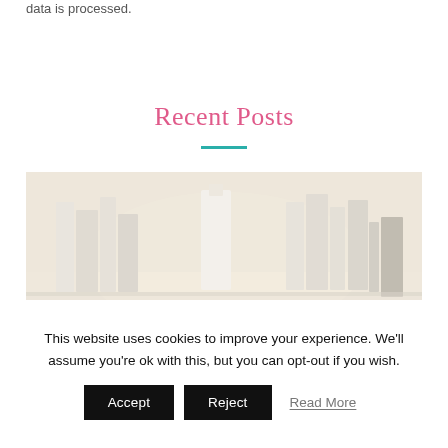data is processed.
Recent Posts
[Figure (photo): Blurred photograph of white books and objects arranged on a shelf with warm beige/cream tones]
This website uses cookies to improve your experience. We'll assume you're ok with this, but you can opt-out if you wish.
Accept   Reject   Read More